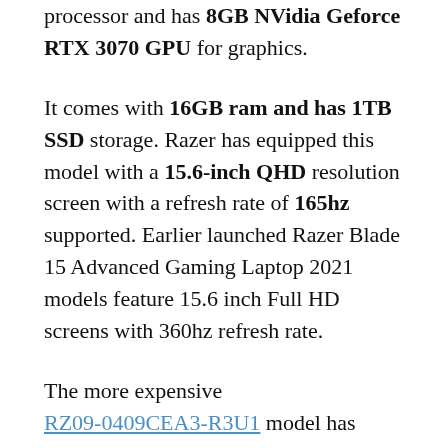processor and has 8GB NVidia Geforce RTX 3070 GPU for graphics.
It comes with 16GB ram and has 1TB SSD storage. Razer has equipped this model with a 15.6-inch QHD resolution screen with a refresh rate of 165hz supported. Earlier launched Razer Blade 15 Advanced Gaming Laptop 2021 models feature 15.6 inch Full HD screens with 360hz refresh rate.
The more expensive RZ09-0409CEA3-R3U1 model has Nvidia RTX 3080 GPU and comes with 32GB of ram. The storage and other features remain the same. Razer has powered these models with an 80Whr battery and ships with...